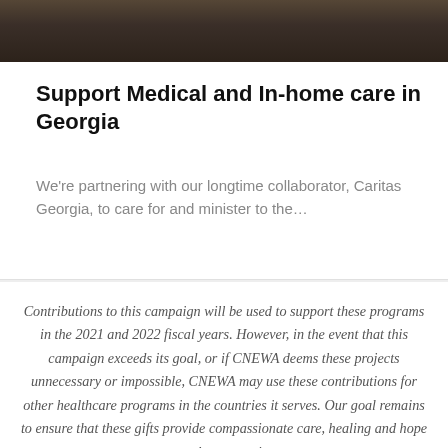[Figure (photo): Dark photograph showing people, appears to be an indoor scene with a bookshelf in the background]
Support Medical and In-home care in Georgia
We’re partnering with our longtime collaborator, Caritas Georgia, to care for and minister to the…
Contributions to this campaign will be used to support these programs in the 2021 and 2022 fiscal years. However, in the event that this campaign exceeds its goal, or if CNEWA deems these projects unnecessary or impossible, CNEWA may use these contributions for other healthcare programs in the countries it serves. Our goal remains to ensure that these gifts provide compassionate care, healing and hope to those most in